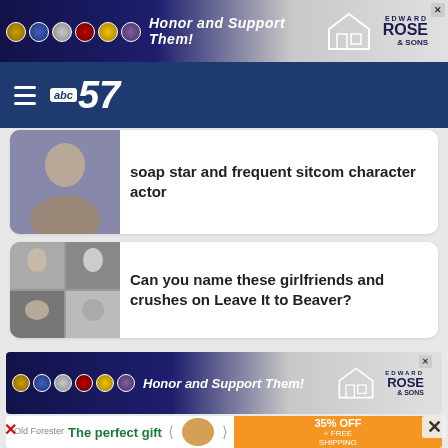[Figure (screenshot): Edward Rose & Sons advertisement banner - Honor and Support Them! with military branch seals]
[Figure (logo): ABC57 news navigation bar with hamburger menu]
soap star and frequent sitcom character actor
[Figure (photo): Black and white grid of four photos showing couples from Leave It to Beaver]
Can you name these girlfriends and crushes on Leave It to Beaver?
[Figure (screenshot): Edward Rose & Sons advertisement - Honor and Support Them!]
[Figure (screenshot): The perfect gift advertisement with 35% OFF + FREE SHIPPING]